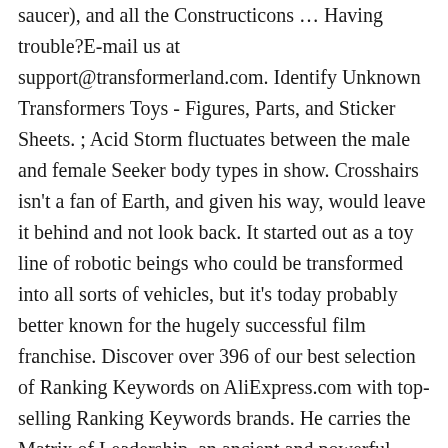saucer), and all the Constructicons … Having trouble?E-mail us at support@transformerland.com. Identify Unknown Transformers Toys - Figures, Parts, and Sticker Sheets. ; Acid Storm fluctuates between the male and female Seeker body types in show. Crosshairs isn't a fan of Earth, and given his way, would leave it behind and not look back. It started out as a toy line of robotic beings who could be transformed into all sorts of vehicles, but it's today probably better known for the hugely successful film franchise. Discover over 396 of our best selection of Ranking Keywords on AliExpress.com with top-selling Ranking Keywords brands. He carries the Matrix of Leadership, an ancient and powerful artifact that gives him upgraded abilities and knowledge of all Cybertronian history. Back in 2007, many people, specially the Transformers fans, who watched the Transformers franchise...